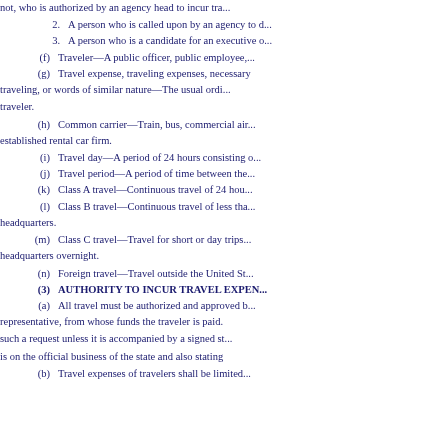not, who is authorized by an agency head to incur tra...
2. A person who is called upon by an agency to d...
3. A person who is a candidate for an executive o...
(f) Traveler—A public officer, public employee,...
(g) Travel expense, traveling expenses, necessary traveling, or words of similar nature—The usual ordi... traveler.
(h) Common carrier—Train, bus, commercial ai... established rental car firm.
(i) Travel day—A period of 24 hours consisting o...
(j) Travel period—A period of time between the...
(k) Class A travel—Continuous travel of 24 hou...
(l) Class B travel—Continuous travel of less tha... headquarters.
(m) Class C travel—Travel for short or day trips headquarters overnight.
(n) Foreign travel—Travel outside the United St...
(3) AUTHORITY TO INCUR TRAVEL EXPEN...
(a) All travel must be authorized and approved b... representative, from whose funds the traveler is paid. such a request unless it is accompanied by a signed st... is on the official business of the state and also stating
(b) Travel expenses of travelers shall be limited...